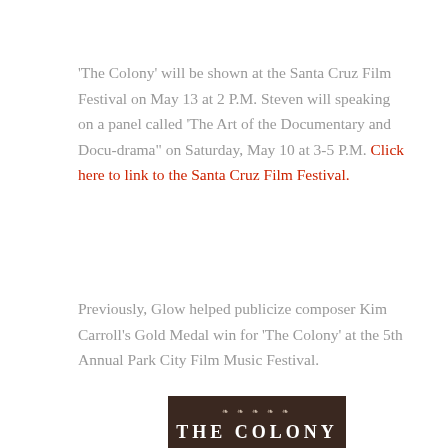'The Colony' will be shown at the Santa Cruz Film Festival on May 13 at 2 P.M. Steven will speaking on a panel called 'The Art of the Documentary and Docu-drama" on Saturday, May 10 at 3-5 P.M. Click here to link to the Santa Cruz Film Festival.
Previously, Glow helped publicize composer Kim Carroll's Gold Medal win for 'The Colony' at the 5th Annual Park City Film Music Festival.
[Figure (photo): Movie poster for 'The Colony' showing text 'THE COLONY' in white on a dark background with decorative laurel/award icons above.]